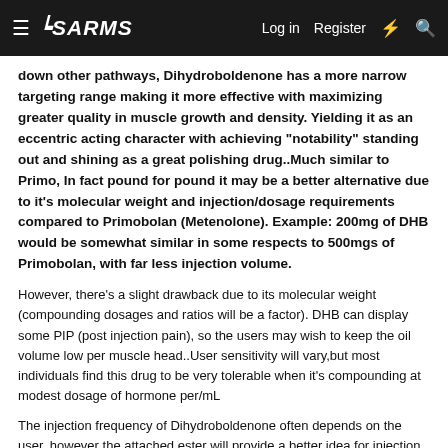ISARMS | Log in | Register
down other pathways, Dihydroboldenone has a more narrow targeting range making it more effective with maximizing greater quality in muscle growth and density. Yielding it as an eccentric acting character with achieving "notability" standing out and shining as a great polishing drug..Much similar to Primo, In fact pound for pound it may be a better alternative due to it's molecular weight and injection/dosage requirements compared to Primobolan (Metenolone). Example: 200mg of DHB would be somewhat similar in some respects to 500mgs of Primobolan, with far less injection volume.
However, there's a slight drawback due to its molecular weight (compounding dosages and ratios will be a factor). DHB can display some PIP (post injection pain), so the users may wish to keep the oil volume low per muscle head..User sensitivity will vary,but most individuals find this drug to be very tolerable when it's compounding at modest dosage of hormone per/mL
The injection frequency of Dihydroboldenone often depends on the user, however the attached ester will provide a better idea for injection scheduling. The Cypioante ester has a half-life from 4.6 days with a residence time of 8 days,